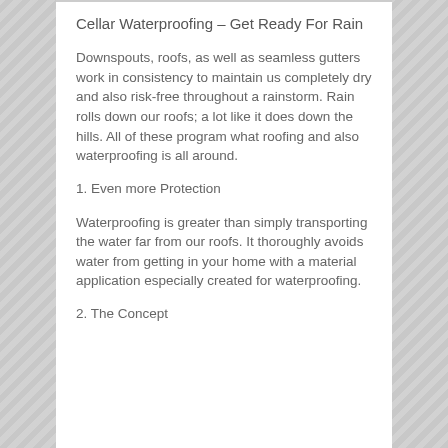Cellar Waterproofing – Get Ready For Rain
Downspouts, roofs, as well as seamless gutters work in consistency to maintain us completely dry and also risk-free throughout a rainstorm. Rain rolls down our roofs; a lot like it does down the hills. All of these program what roofing and also waterproofing is all around.
1. Even more Protection
Waterproofing is greater than simply transporting the water far from our roofs. It thoroughly avoids water from getting in your home with a material application especially created for waterproofing.
2. The Concept